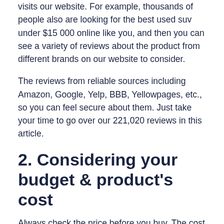visits our website. For example, thousands of people also are looking for the best used suv under $15 000 online like you, and then you can see a variety of reviews about the product from different brands on our website to consider.
The reviews from reliable sources including Amazon, Google, Yelp, BBB, Yellowpages, etc., so you can feel secure about them. Just take your time to go over our 221,020 reviews in this article.
2. Considering your budget & product's cost
Always check the price before you buy. The cost is always concerned. Moreover, you can rest assured with the price check history of our tool. You can easily view product prices and compare prices between products to choose the one that best suits